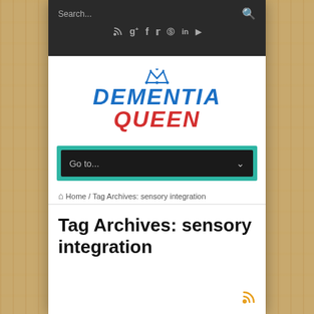[Figure (screenshot): Website screenshot of Dementia Queen blog, showing search bar, social media icons, logo, navigation dropdown, breadcrumb, and page title 'Tag Archives: sensory integration']
Search...
Social media icons: RSS, Google+, Facebook, Twitter, Pinterest, LinkedIn, YouTube
[Figure (logo): Dementia Queen logo with blue crown, blue 'DEMENTIA' text and red 'QUEEN' text in italic bold]
Go to...
Home / Tag Archives: sensory integration
Tag Archives: sensory integration